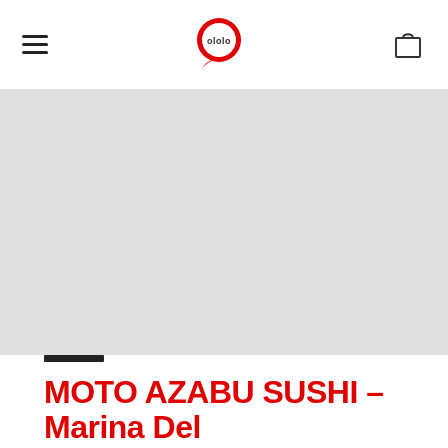MOTO AZABU SUSHI – Marina Del
[Figure (map): Gray placeholder map area showing a location map]
MOTO AZABU SUSHI – Marina Del